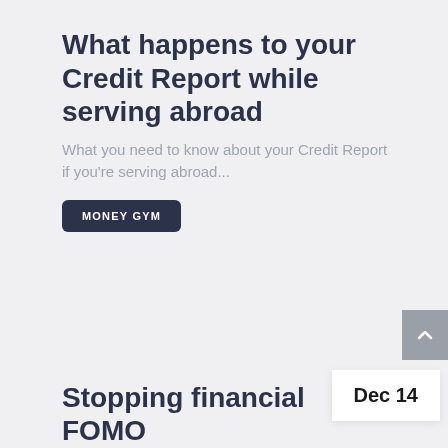What happens to your Credit Report while serving abroad
What you need to know about your Credit Report if you're serving abroad...
MONEY GYM
Dec 14
Stopping financial FOMO